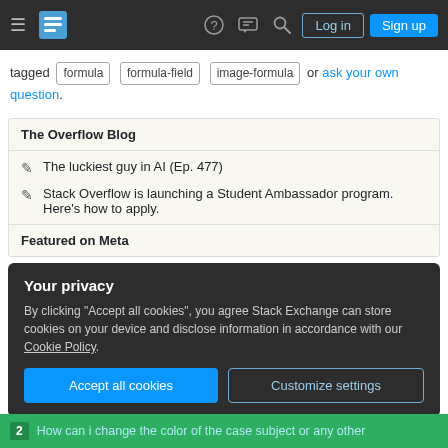Stack Overflow navigation bar with Log in and Sign up buttons
tagged formula formula-field image-formula or ask your own question.
The Overflow Blog
The luckiest guy in AI (Ep. 477)
Stack Overflow is launching a Student Ambassador program. Here's how to apply.
Featured on Meta
Your privacy
By clicking "Accept all cookies", you agree Stack Exchange can store cookies on your device and disclose information in accordance with our Cookie Policy.
Accept all cookies  Customize settings
2  How can i change the color of the case subject or any other